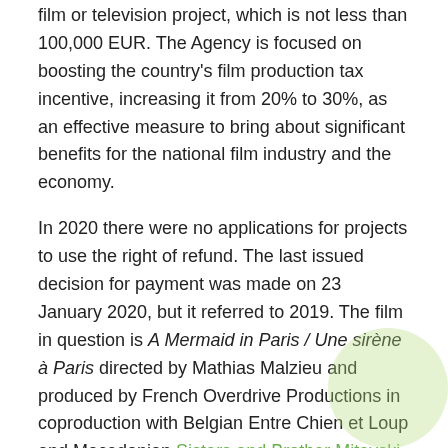film or television project, which is not less than 100,000 EUR. The Agency is focused on boosting the country's film production tax incentive, increasing it from 20% to 30%, as an effective measure to bring about significant benefits for the national film industry and the economy.
In 2020 there were no applications for projects to use the right of refund. The last issued decision for payment was made on 23 January 2020, but it referred to 2019. The film in question is A Mermaid in Paris / Une sirène à Paris directed by Mathias Malzieu and produced by French Overdrive Productions in coproduction with Belgian Entre Chien et Loup and Macedonian Sisters and Brother Mitevski.
In February 2020, the North Macedonia Film Agency announced its decision to boost 22 festivals and events according to the announced Call for financing projects of national interest in the film industry, for organising domestic festivals and other international film events in 2020. Established festivals such as the International Cinematographer's Film Festival Manaki